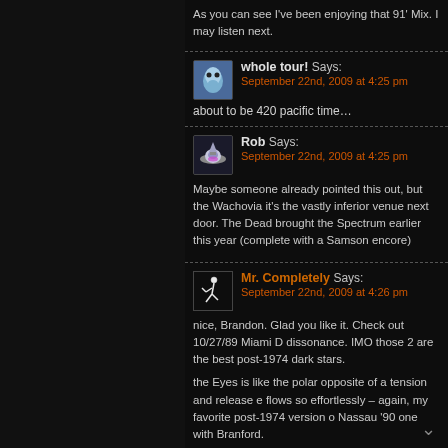As you can see I've been enjoying that 91' Mix. I may listen next.
whole tour! Says:
September 22nd, 2009 at 4:25 pm
about to be 420 pacific time…
Rob Says:
September 22nd, 2009 at 4:25 pm
Maybe someone already pointed this out, but the Wachovia it's the vastly inferior venue next door. The Dead brought the Spectrum earlier this year (complete with a Samson encore)
Mr. Completely Says:
September 22nd, 2009 at 4:26 pm
nice, Brandon. Glad you like it. Check out 10/27/89 Miami D dissonance. IMO those 2 are the best post-1974 dark stars.

the Eyes is like the polar opposite of a tension and release e flows so effortlessly – again, my favorite post-1974 version o Nassau '90 one with Branford.